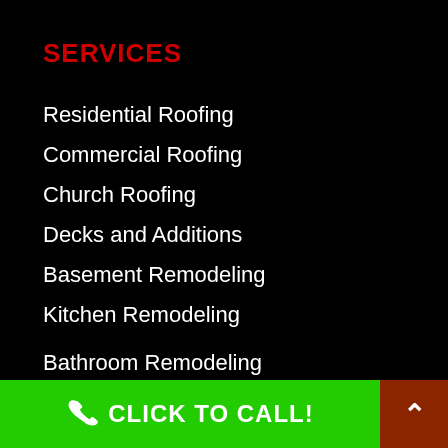SERVICES
Residential Roofing
Commercial Roofing
Church Roofing
Decks and Additions
Basement Remodeling
Kitchen Remodeling
Bathroom Remodeling
CLICK TO CALL!